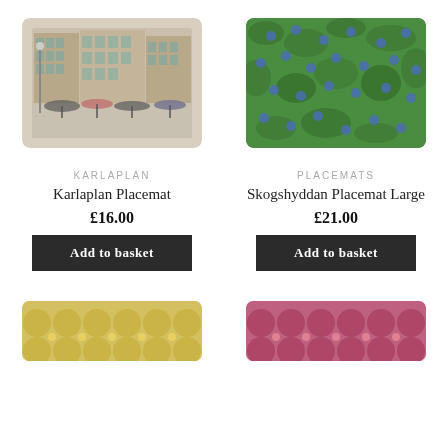[Figure (photo): Karlaplan placemat showing illustrated urban street scene with buildings and people holding umbrellas]
[Figure (photo): Skogshyddan placemat showing green texture with blue dot pattern]
KARLAPLAN
Karlaplan Placemat
£16.00
Add to basket
PLACEMATS
Skogshyddan Placemat Large
£21.00
Add to basket
[Figure (photo): Partial view of a placemat with yellow pattern at bottom left]
[Figure (photo): Partial view of a placemat with pink/rose pattern at bottom right]